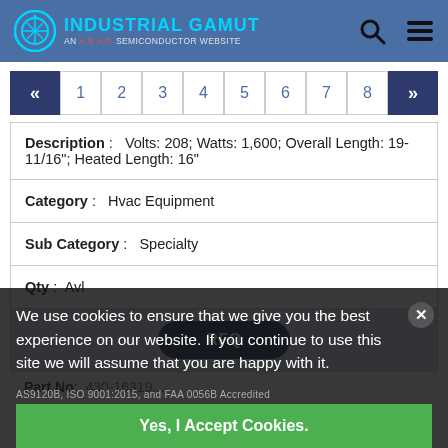[Figure (logo): Industrial Gamut logo - AN A.S.A.P. SEMICONDUCTOR WEBSITE with navigation icons]
| Description | Volts: 208; Watts: 1,600; Overall Length: 19-11/16"; Heated Length: 16" |
| Category | Hvac Equipment |
| Sub Category | Specialty |
| Qty | Avl |
| RFQ |  |
Part No:  (partially visible)
We use cookies to ensure that we give you the best experience on our website. If you continue to use this site we will assume that you are happy with it.
AS9120B, ISO 9001:2015, and FAA 0056B Accredited
Yes, I Accept Cookies.